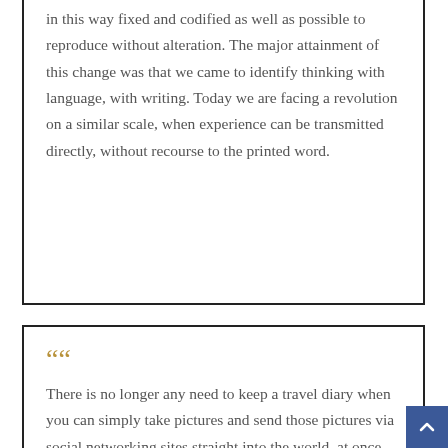in this way fixed and codified as well as possible to reproduce without alteration. The major attainment of this change was that we came to identify thinking with language, with writing. Today we are facing a revolution on a similar scale, when experience can be transmitted directly, without recourse to the printed word.
There is no longer any need to keep a travel diary when you can simply take pictures and send those pictures via social networking sites straight into the world, at once and to all. There is no need to write